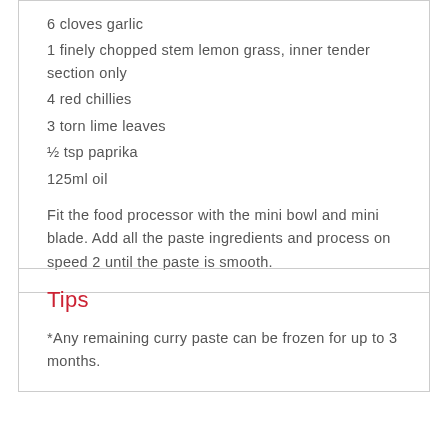6 cloves garlic
1 finely chopped stem lemon grass, inner tender section only
4 red chillies
3 torn lime leaves
½ tsp paprika
125ml oil
Fit the food processor with the mini bowl and mini blade. Add all the paste ingredients and process on speed 2 until the paste is smooth.
Tips
*Any remaining curry paste can be frozen for up to 3 months.